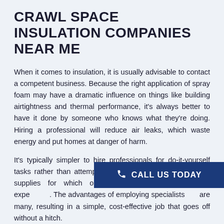CRAWL SPACE INSULATION COMPANIES NEAR ME
When it comes to insulation, it is usually advisable to contact a competent business. Because the right application of spray foam may have a dramatic influence on things like building airtightness and thermal performance, it's always better to have it done by someone who knows what they're doing. Hiring a professional will reduce air leaks, which waste energy and put homes at danger of harm.
It's typically simpler to hire professionals for do-it-yourself tasks rather than attempting to locate all of the necessary supplies for which one may lack understanding or expe... The advantages of employing specialists ... are many, resulting in a simple, cost-effective job that goes off without a hitch.